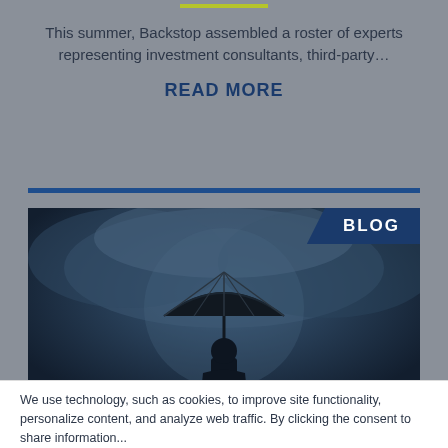This summer, Backstop assembled a roster of experts representing investment consultants, third-party...
READ MORE
[Figure (photo): Person holding an umbrella in a dark stormy sky, viewed from behind, with the BLOG label in top right corner]
We use technology, such as cookies, to improve site functionality, personalize content, and analyze web traffic. By clicking...